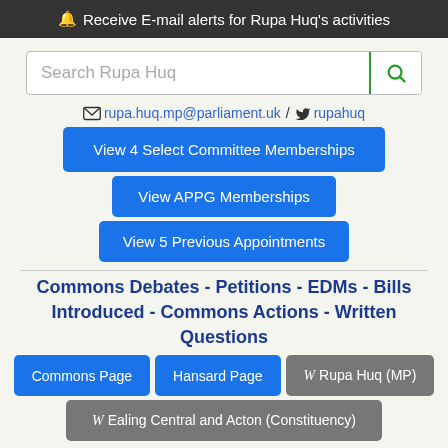🔔 Receive E-mail alerts for Rupa Huq's activities
Search Rupa Huq
rupa.huq.mp@parliament.uk / rupahuq
View 4 Select Committee Memberships
View APPG Memberships
View 5 Previous Appointments
Commons Debates - Petitions - EDMs - Bills Introduced - Commons Actions - Written Questions
Commons Page
Hansard Page
W Rupa Huq (MP)
W Ealing Central and Acton (Constituency)